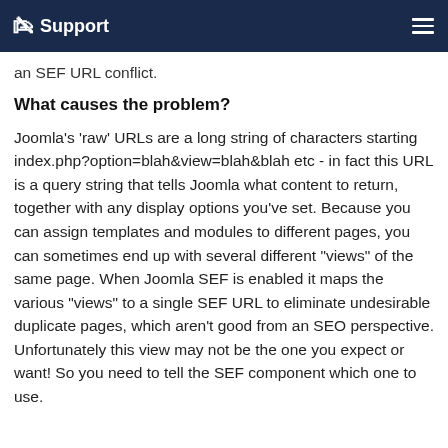Support
an SEF URL conflict.
What causes the problem?
Joomla's 'raw' URLs are a long string of characters starting index.php?option=blah&view=blah&blah etc - in fact this URL is a query string that tells Joomla what content to return, together with any display options you've set. Because you can assign templates and modules to different pages, you can sometimes end up with several different "views" of the same page. When Joomla SEF is enabled it maps the various "views" to a single SEF URL to eliminate undesirable duplicate pages, which aren't good from an SEO perspective. Unfortunately this view may not be the one you expect or want! So you need to tell the SEF component which one to use.